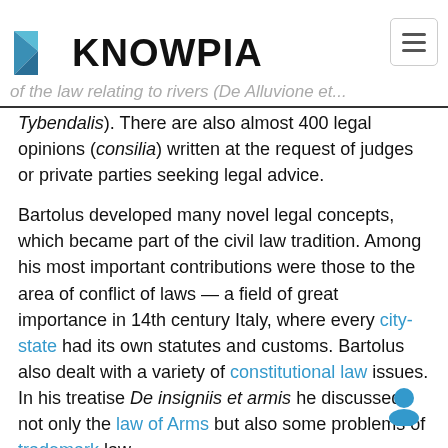KNOWPIA
Tybendalis). There are also almost 400 legal opinions (consilia) written at the request of judges or private parties seeking legal advice.
Bartolus developed many novel legal concepts, which became part of the civil law tradition. Among his most important contributions were those to the area of conflict of laws — a field of great importance in 14th century Italy, where every city-state had its own statutes and customs. Bartolus also dealt with a variety of constitutional law issues. In his treatise De insigniis et armis he discussed not only the law of Arms but also some problems of trademark law.
Bartolus also wrote on political issues, including the legitimacy of city governments, partisan divisions and